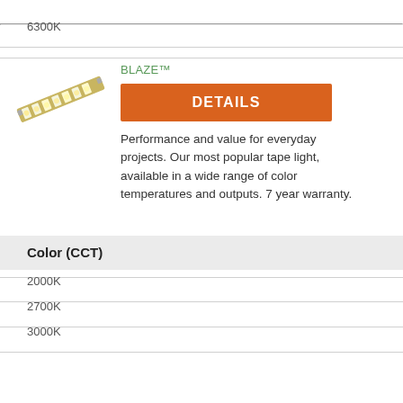6300K
[Figure (photo): LED tape light strip shown diagonally, with multiple LEDs visible on a flexible PCB strip]
BLAZE™
DETAILS
Performance and value for everyday projects. Our most popular tape light, available in a wide range of color temperatures and outputs. 7 year warranty.
Color (CCT)
2000K
2700K
3000K